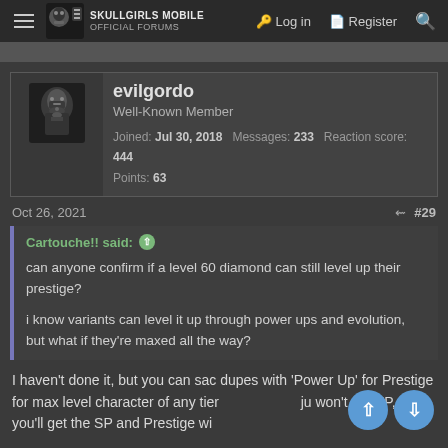Skullgirls Mobile Official Forums — Log in | Register
evilgordo
Well-Known Member
Joined: Jul 30, 2018  Messages: 233  Reaction score: 444
Points: 63
Oct 26, 2021  #29
Cartouche!! said:
can anyone confirm if a level 60 diamond can still level up their prestige?
i know variants can level it up through power ups and evolution, but what if they're maxed all the way?
I haven't done it, but you can sac dupes with 'Power Up' for Prestige for max level character of any tier. You won't get XP, but you'll get the SP and Prestige will...